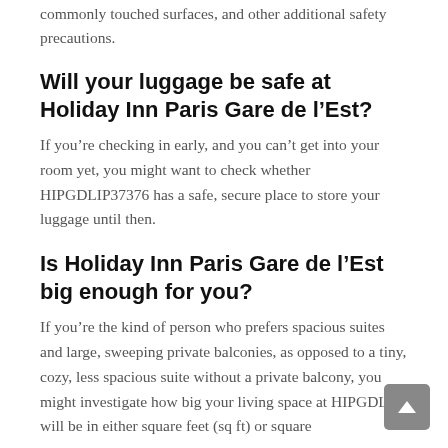commonly touched surfaces, and other additional safety precautions.
Will your luggage be safe at Holiday Inn Paris Gare de l’Est?
If you’re checking in early, and you can’t get into your room yet, you might want to check whether HIPGDLIP37376 has a safe, secure place to store your luggage until then.
Is Holiday Inn Paris Gare de l’Est big enough for you?
If you’re the kind of person who prefers spacious suites and large, sweeping private balconies, as opposed to a tiny, cozy, less spacious suite without a private balcony, you might investigate how big your living space at HIPGDLIP will be in either square feet (sq ft) or square